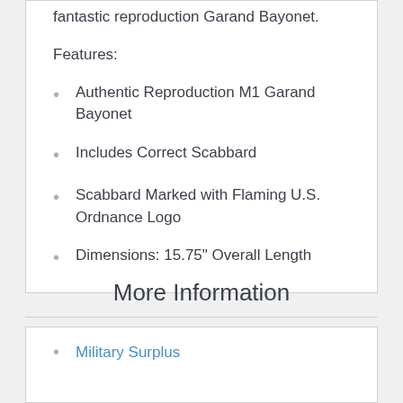fantastic reproduction Garand Bayonet.
Features:
Authentic Reproduction M1 Garand Bayonet
Includes Correct Scabbard
Scabbard Marked with Flaming U.S. Ordnance Logo
Dimensions: 15.75" Overall Length
More Information
Military Surplus